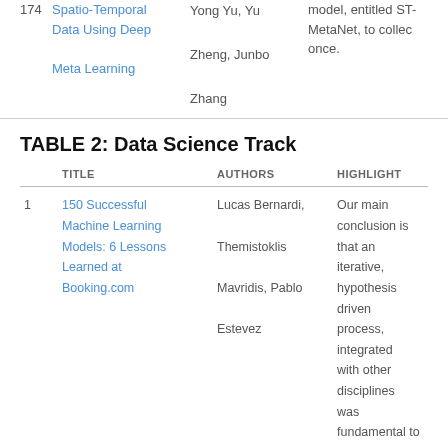|  | TITLE | AUTHORS | HIGHLIGHT |
| --- | --- | --- | --- |
| 174 | Spatio-Temporal Data Using Deep Meta Learning | Yong Yu, Yu Zheng, Junbo Zhang | model, entitled ST-MetaNet, to collect once. |
TABLE 2: Data Science Track
|  | TITLE | AUTHORS | HIGHLIGHT |
| --- | --- | --- | --- |
| 1 | 150 Successful Machine Learning Models: 6 Lessons Learned at Booking.com | Lucas Bernardi, Themistoklis Mavridis, Pablo Estevez | Our main conclusion is that an iterative, hypothesis driven process, integrated with other disciplines was fundamental to build 150 successful products enabled by Machine Learning. |
|  |  | Jingbo Zhou, Shan Gou, | In this paper, we study |